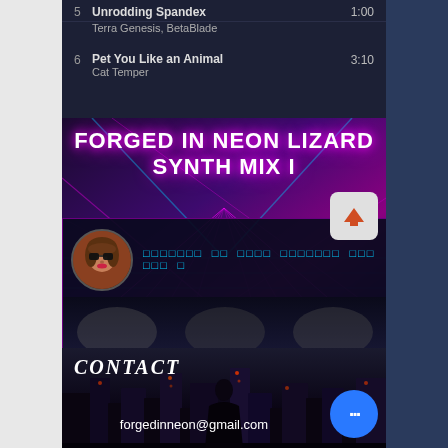5  Unrodding Spandex  1:00
   Terra Genesis, BetaBlade
6  Pet You Like an Animal  3:10
   Cat Temper
FORGED IN NEON LIZARD SYNTH MIX I
[Figure (screenshot): Media player bar showing avatar thumbnail and scrolling title text with Cyrillic/unicode characters]
CONTACT
forgedinneon@gmail.com